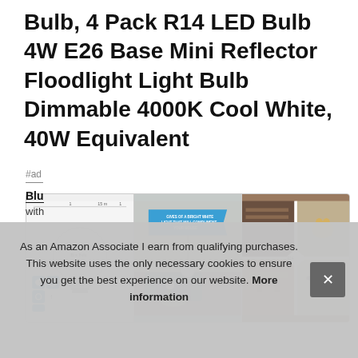Bulb, 4 Pack R14 LED Bulb 4W E26 Base Mini Reflector Floodlight Light Bulb Dimmable 4000K Cool White, 40W Equivalent
#ad
[Figure (photo): Three product images side by side: first shows an R14 LED bulb with icons, second shows a living room with blue banner text 'Gives of a bright white light that will compliment your house', third shows a collage of room settings with product logo]
Blue
with
As an Amazon Associate I earn from qualifying purchases. This website uses the only necessary cookies to ensure you get the best experience on our website. More information